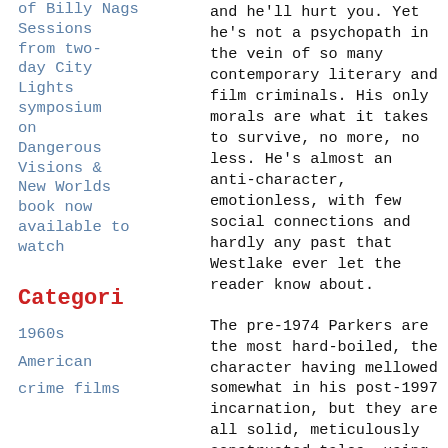Sessions from two-day City Lights symposium on Dangerous Visions & New Worlds book now available to watch
Categori
1960s American crime films
and he'll hurt you. Yet he's not a psychopath in the vein of so many contemporary literary and film criminals. His only morals are what it takes to survive, no more, no less. He's almost an anti-character, emotionless, with few social connections and hardly any past that Westlake ever let the reader know about.
The pre-1974 Parkers are the most hard-boiled, the character having mellowed somewhat in his post-1997 incarnation, but they are all solid, meticulously constructed tales, using multiple points of view, Parker's and others. Westlake's writing style is lean and disciplined and he's a master of less is more. If you haven't read him, start at